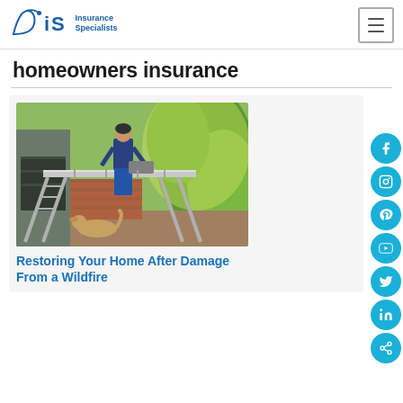AIS Insurance Specialists
homeowners insurance
[Figure (photo): Woman working on a ladder in an outdoor home setting with a golden retriever dog nearby, sunny garden background]
Restoring Your Home After Damage From a Wildfire